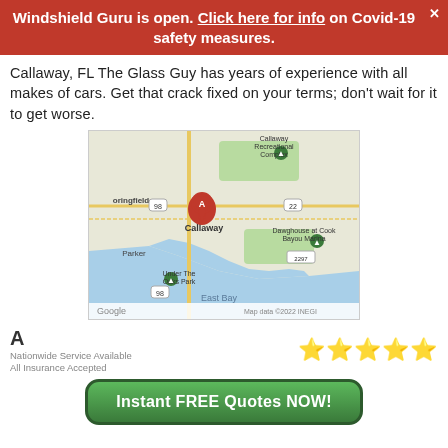Windshield Guru is open. Click here for info on Covid-19 safety measures.
Callaway, FL The Glass Guy has years of experience with all makes of cars. Get that crack fixed on your terms; don't wait for it to get worse.
[Figure (map): Google Maps screenshot showing Callaway, FL area with marker A at Callaway, showing nearby landmarks: Callaway Recreational Complex, Dawghouse at Cook Bayou Marina, Under The Oaks Park, Parker, East Bay, Springfield. Map data ©2022 INEGI.]
A
Nationwide Service Available
All Insurance Accepted
⭐⭐⭐⭐⭐
Instant FREE Quotes NOW!